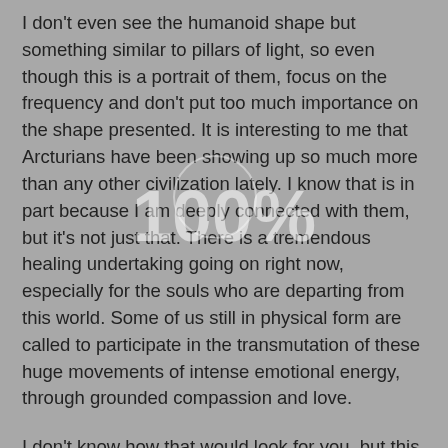I don't even see the humanoid shape but something similar to pillars of light, so even though this is a portrait of them, focus on the frequency and don't put too much importance on the shape presented. It is interesting to me that Arcturians have been showing up so much more than any other civilization lately. I know that is in part because I am deeply connected with them, but it's not just that. There is a tremendous healing undertaking going on right now, especially for the souls who are departing from this world. Some of us still in physical form are called to participate in the transmutation of these huge movements of intense emotional energy, through grounded compassion and love.
I don't know how that would look for you, but this is the message I am getting from them, that they are here to help you with your work, whether you are aware of doing any work or not- you are! They are also here for you to help in any healing and support you need through those